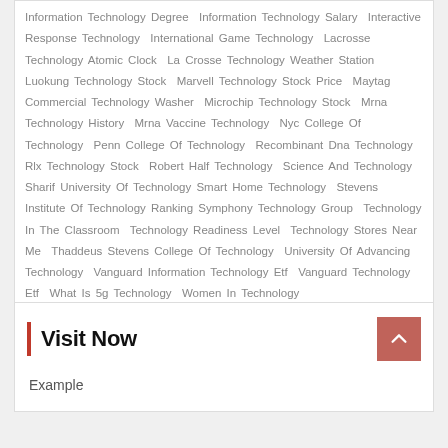Information Technology Degree  Information Technology Salary  Interactive Response Technology  International Game Technology  Lacrosse Technology Atomic Clock  La Crosse Technology Weather Station  Luokung Technology Stock  Marvell Technology Stock Price  Maytag Commercial Technology Washer  Microchip Technology Stock  Mrna Technology History  Mrna Vaccine Technology  Nyc College Of Technology  Penn College Of Technology  Recombinant Dna Technology  Rlx Technology Stock  Robert Half Technology  Science And Technology  Sharif University Of Technology  Smart Home Technology  Stevens Institute Of Technology Ranking  Symphony Technology Group  Technology In The Classroom  Technology Readiness Level  Technology Stores Near Me  Thaddeus Stevens College Of Technology  University Of Advancing Technology  Vanguard Information Technology Etf  Vanguard Technology Etf  What Is 5g Technology  Women In Technology
Visit Now
Example